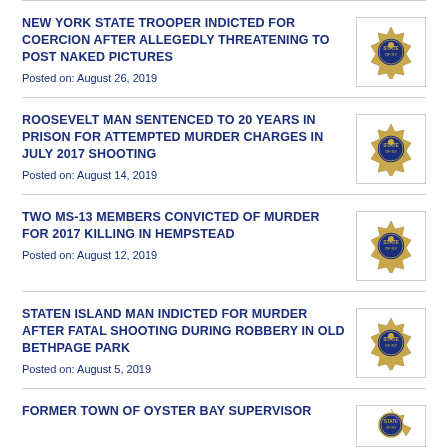NEW YORK STATE TROOPER INDICTED FOR COERCION AFTER ALLEGEDLY THREATENING TO POST NAKED PICTURES
Posted on: August 26, 2019
ROOSEVELT MAN SENTENCED TO 20 YEARS IN PRISON FOR ATTEMPTED MURDER CHARGES IN JULY 2017 SHOOTING
Posted on: August 14, 2019
TWO MS-13 MEMBERS CONVICTED OF MURDER FOR 2017 KILLING IN HEMPSTEAD
Posted on: August 12, 2019
STATEN ISLAND MAN INDICTED FOR MURDER AFTER FATAL SHOOTING DURING ROBBERY IN OLD BETHPAGE PARK
Posted on: August 5, 2019
FORMER TOWN OF OYSTER BAY SUPERVISOR...